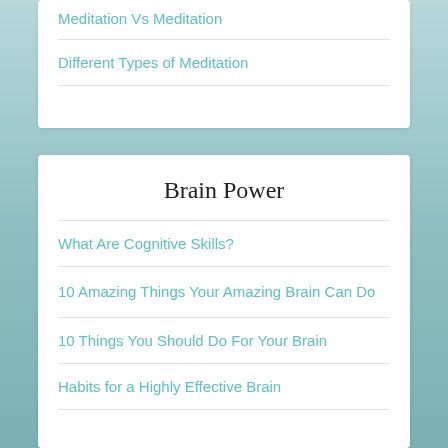Meditation Vs Meditation
Different Types of Meditation
Brain Power
What Are Cognitive Skills?
10 Amazing Things Your Amazing Brain Can Do
10 Things You Should Do For Your Brain
Habits for a Highly Effective Brain